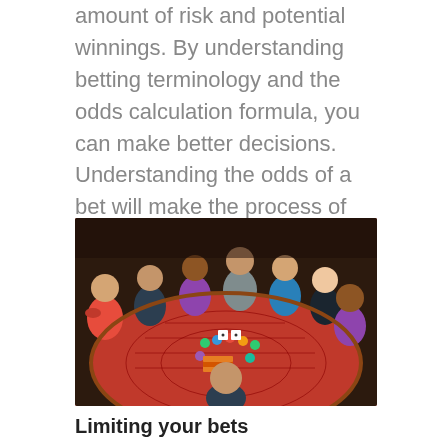amount of risk and potential winnings. By understanding betting terminology and the odds calculation formula, you can make better decisions. Understanding the odds of a bet will make the process of wagering much easier. Below are some tips for understanding odds.
[Figure (photo): Group of people gathered around a casino roulette/craps table with a dealer, chips visible on the orange/red felt table surface]
Limiting your bets